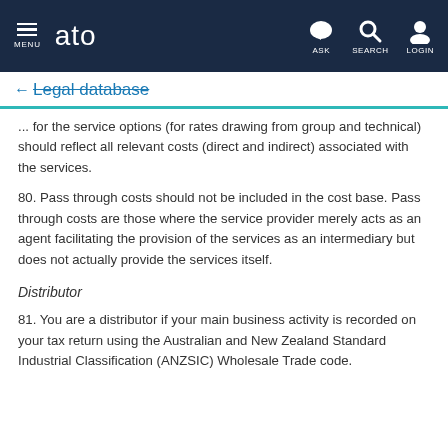MENU | ato | ASK | SEARCH | LOGIN
← Legal database
... for the service options (for rates drawing from group and technical) should reflect all relevant costs (direct and indirect) associated with the services.
80. Pass through costs should not be included in the cost base. Pass through costs are those where the service provider merely acts as an agent facilitating the provision of the services as an intermediary but does not actually provide the services itself.
Distributor
81. You are a distributor if your main business activity is recorded on your tax return using the Australian and New Zealand Standard Industrial Classification (ANZSIC) Wholesale Trade code.